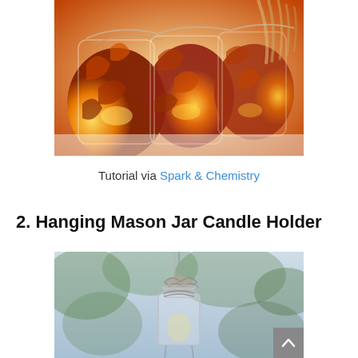[Figure (photo): Three illuminated mason jars decorated with autumn leaves (orange, red, brown maple and ivy leaves) and tied with natural twine, glowing warmly from candles inside, arranged on a white surface]
Tutorial via Spark & Chemistry
2. Hanging Mason Jar Candle Holder
[Figure (photo): A hanging mason jar candle holder suspended by wrapped wire or twine from tree branches, with blurred green foliage in the background, photographed in outdoor natural light]